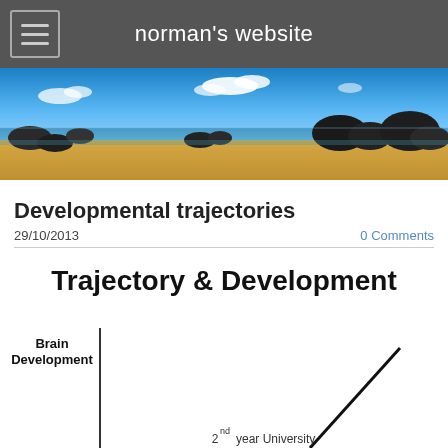norman's website
[Figure (photo): Wide beach panorama with blue sky, white clouds, rocky outcrops, and golden sand.]
Developmental trajectories
29/10/2013
0 Comments
[Figure (other): Partial view of a chart titled 'Trajectory & Development' with y-axis label 'Brain Development' and a diagonal line rising toward label '2nd year University'.]